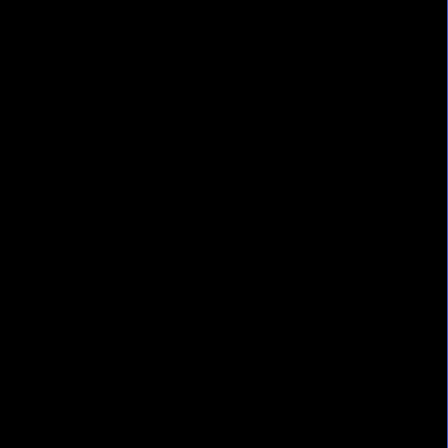UK, BRITISH, UNITED KINGDOM 10A-250V 3 AMP. FUSE, IEC 60320 C-13 CONNECTOR, 2.5
Length: 2.5 METERS [8FT.-2IN.]
Notes:
* Available with 3A, 5A, 10A, 13A fuses.
80201
[Figure (photo): UK British plug and IEC 60320 C-13 connector power cord with photos of plug ends]
UK, BRITISH, UNITED KINGDOM, SAUDI ARABIA KINGDOM PLUG, 13 AMP. FUSE, IEC 60320 C- Length: 2.5 METERS [8FT-2IN]
80201-LK
[Figure (photo): UK British locking plug and IEC connector power cord with photos of plug ends]